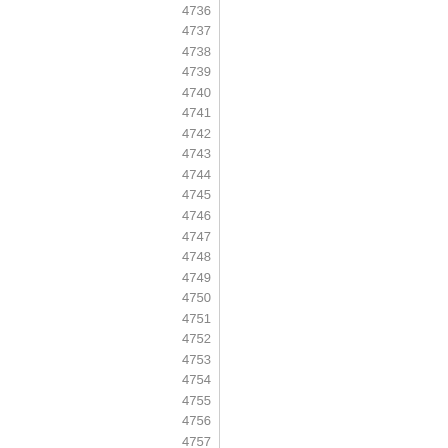| 4736 |
| 4737 |
| 4738 |
| 4739 |
| 4740 |
| 4741 |
| 4742 |
| 4743 |
| 4744 |
| 4745 |
| 4746 |
| 4747 |
| 4748 |
| 4749 |
| 4750 |
| 4751 |
| 4752 |
| 4753 |
| 4754 |
| 4755 |
| 4756 |
| 4757 |
| 4758 |
| 4759 |
| 4760 |
| 4761 |
| 4762 |
| 4763 |
| 4764 |
| 4765 |